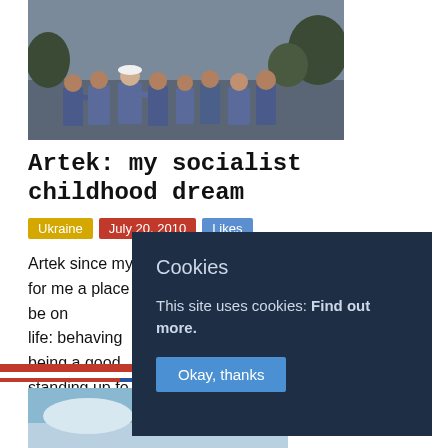[Figure (photo): Group of children/youth in blue uniforms huddled together outdoors]
Artek: my socialist childhood dream
Ukraine  July 20, 2010  Likes
Artek since my school time and Russian lessons was for me a place very close to heaven. The place you will be on life: behaving being a good standing up fo
More
[Figure (screenshot): Cookies consent overlay dialog with title 'Cookies', text 'This site uses cookies: Find out more.' and button 'Okay, thanks']
[Figure (photo): Bottom portion of a photo showing sky and landscape]